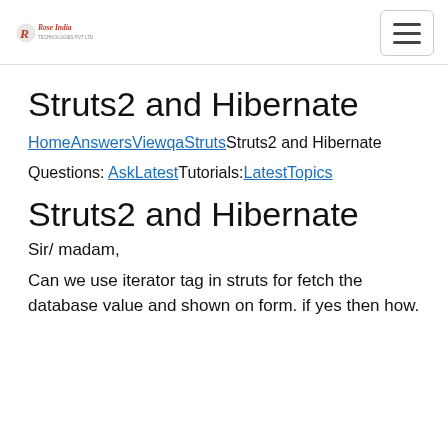Rose India [logo] | hamburger menu
Struts2 and Hibernate
HomeAnswersViewqaStrutsStruts2 and Hibernate
Questions: AskLatestTutorials:LatestTopics
Struts2 and Hibernate
Sir/ madam,
Can we use iterator tag in struts for fetch the database value and shown on form. if yes then how.